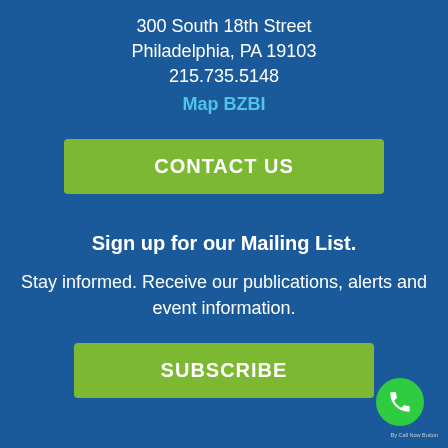300 South 18th Street
Philadelphia, PA 19103
215.735.5148
Map BZBI
CONTACT US
Sign up for our Mailing List.
Stay informed. Receive our publications, alerts and event information.
SUBSCRIBE